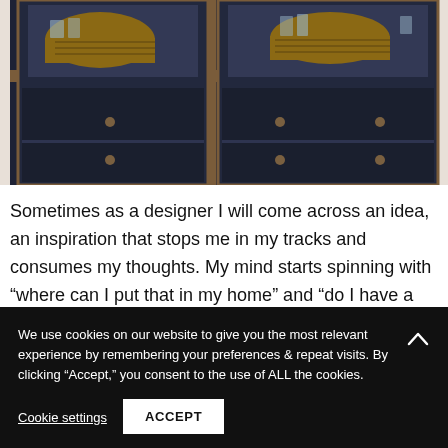[Figure (photo): Dark navy blue cabinet/hutch with glass doors showing wicker baskets and glass items on shelves, with wooden trim accents]
Sometimes as a designer I will come across an idea, an inspiration that stops me in my tracks and consumes my thoughts. My mind starts spinning with “where can I put that in my home” and “do I have a budget to make this work”… I begin to explore and research what I’ve found
We use cookies on our website to give you the most relevant experience by remembering your preferences & repeat visits. By clicking “Accept,” you consent to the use of ALL the cookies.
Cookie settings
ACCEPT